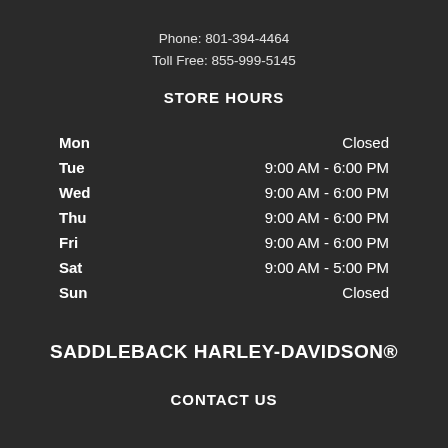Phone: 801-394-4464
Toll Free: 855-999-5145
STORE HOURS
| Day | Hours |
| --- | --- |
| Mon | Closed |
| Tue | 9:00 AM - 6:00 PM |
| Wed | 9:00 AM - 6:00 PM |
| Thu | 9:00 AM - 6:00 PM |
| Fri | 9:00 AM - 6:00 PM |
| Sat | 9:00 AM - 5:00 PM |
| Sun | Closed |
SADDLEBACK HARLEY-DAVIDSON®
CONTACT US